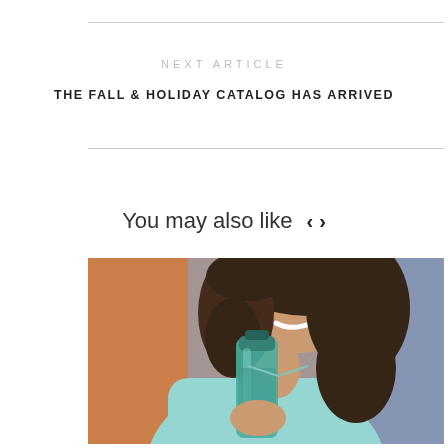NEXT ARTICLE
THE FALL & HOLIDAY CATALOG HAS ARRIVED
You may also like
[Figure (photo): A smiling woman with curly hair wearing a light blue shirt, holding a teal/green water bottle]